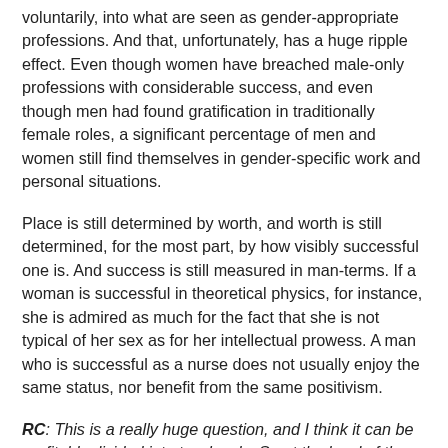voluntarily, into what are seen as gender-appropriate professions. And that, unfortunately, has a huge ripple effect. Even though women have breached male-only professions with considerable success, and even though men had found gratification in traditionally female roles, a significant percentage of men and women still find themselves in gender-specific work and personal situations.
Place is still determined by worth, and worth is still determined, for the most part, by how visibly successful one is. And success is still measured in man-terms. If a woman is successful in theoretical physics, for instance, she is admired as much for the fact that she is not typical of her sex as for her intellectual prowess. A man who is successful as a nurse does not usually enjoy the same status, nor benefit from the same positivism.
RC: This is a really huge question, and I think it can be profitably divided into two levels. So at the level of the individual: very little. I don't feel that being a woman has had much impact on the path I've taken through education and life, I've usually been in somewhat male-dominated areas